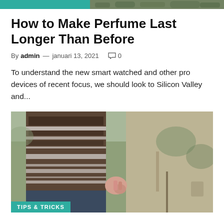[Figure (photo): Top banner with teal left section and green right section showing a photo thumbnail]
How to Make Perfume Last Longer Than Before
By admin — januari 13, 2021  0
To understand the new smart watched and other pro devices of recent focus, we should look to Silicon Valley and...
[Figure (photo): Two people holding hands outdoors, one wearing a brown and white patterned knit sweater, the other wearing a khaki jacket. A TIPS & TRICKS badge appears at the bottom left.]